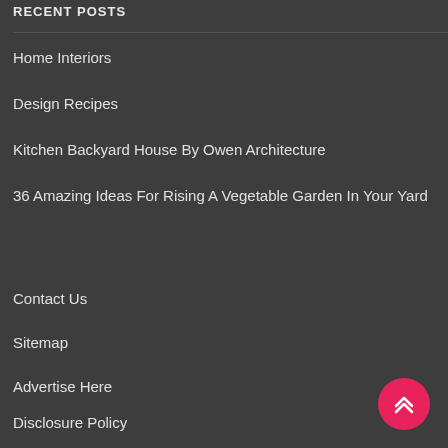RECENT POSTS
Home Interiors
Design Recipes
Kitchen Backyard House By Owen Architecture
36 Amazing Ideas For Rising A Vegetable Garden In Your Yard
Contact Us
Sitemap
Advertise Here
Disclosure Policy